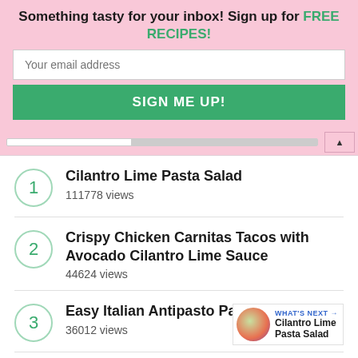Something tasty for your inbox! Sign up for FREE RECIPES!
Your email address
SIGN ME UP!
1 Cilantro Lime Pasta Salad
111778 views
2 Crispy Chicken Carnitas Tacos with Avocado Cilantro Lime Sauce
44624 views
3 Easy Italian Antipasto Pasta Salad
36012 views
WHAT'S NEXT → Cilantro Lime Pasta Salad
The Best Shrimp Ceviche